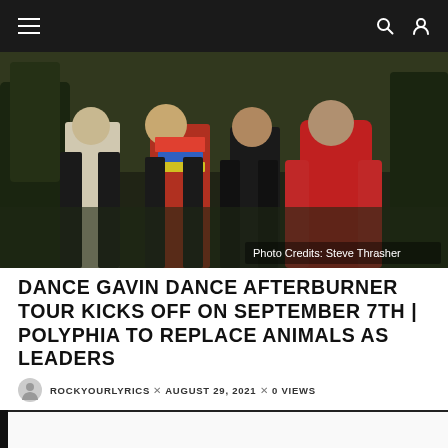Navigation bar with hamburger menu, search icon, and user icon
[Figure (photo): Band photo of Dance Gavin Dance members standing outdoors near water with autumn foliage. Photo credit: Steve Thrasher]
DANCE GAVIN DANCE AFTERBURNER TOUR KICKS OFF ON SEPTEMBER 7TH | POLYPHIA TO REPLACE ANIMALS AS LEADERS
ROCKYOURLYRICS × AUGUST 29, 2021 × 0 VIEWS
NEWS  0 VIEWS  ♡ 0  5 MIN READ